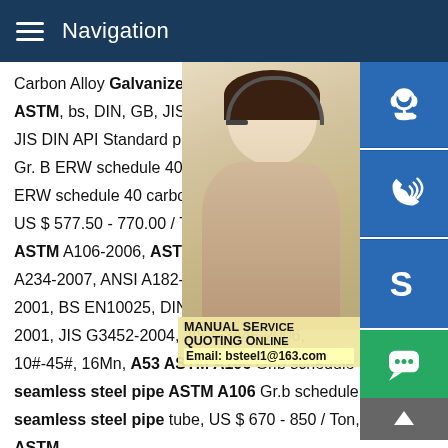Navigation
Carbon Alloy Galvanized Steel Pipe, US ASTM, bs, DIN, GB, JIS, API 5L, ASTM A JIS DIN API Standard p265 tr1 sch 40 nkk Gr. B ERW schedule 40 carbon steel pipe ERW schedule 40 carbon steel pipe used US $ 577.50 - 770.00 / Ton, API, ASTM, B ASTM A106-2006, ASTM A210-1996, ASTM A234-2007, ANSI A182-2001, ASTM A789 2001, BS EN10025, DIN EN 10305, DIN E 2001, JIS G3452-2004, JIS G3445-2006, 10#-45#, 16Mn, A53 ASTM A106 Gr.b schedule 40 black seamless steel pipe ASTM A106 Gr.b schedule 40 black seamless steel pipe tube, US $ 670 - 850 / Ton, API, ASTM, DIN, GB, JIS, ASTM A53, ASTM A106, API 5L and so on, API ASTM A53-2007, BS 1387, BS EN10025, BS EN 39, BS EN10 DIN EN 10217-1-2005, DIN 2444, DIN EN 10025, GB/T 9711
[Figure (photo): Customer service representative woman with headset, yellow/beige background]
[Figure (infographic): Side buttons: headset/support icon, phone icon, Skype icon (blue background). Manual service quoting overlay with email bsteel1@163.com. Green chat bubble button. Scroll-to-top grey button.]